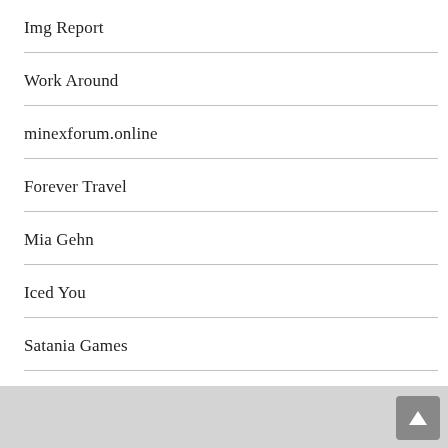Img Report
Work Around
minexforum.online
Forever Travel
Mia Gehn
Iced You
Satania Games
Galaxy Hub